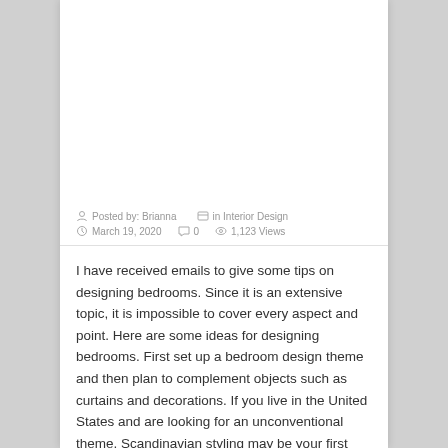[Figure (photo): White/blank image placeholder at top of blog post card]
Posted by: Brianna  in Interior Design
March 19, 2020  0  1,123 Views
I have received emails to give some tips on designing bedrooms. Since it is an extensive topic, it is impossible to cover every aspect and point. Here are some ideas for designing bedrooms. First set up a bedroom design theme and then plan to complement objects such as curtains and decorations. If you live in the United States and are looking for an unconventional theme, Scandinavian styling may be your first choice.